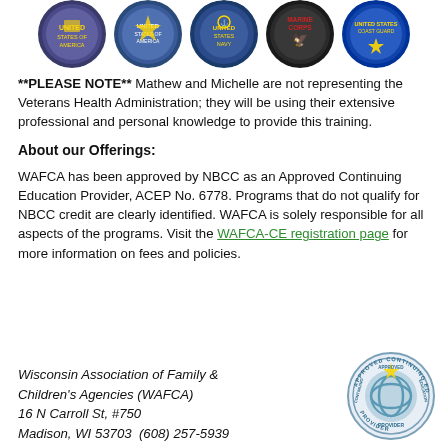[Figure (illustration): Row of five military branch seals/emblems: Army, Air Force, Navy, Marine Corps, Coast Guard]
**PLEASE NOTE** Mathew and Michelle are not representing the Veterans Health Administration; they will be using their extensive professional and personal knowledge to provide this training.
About our Offerings:
WAFCA has been approved by NBCC as an Approved Continuing Education Provider, ACEP No. 6778. Programs that do not qualify for NBCC credit are clearly identified. WAFCA is solely responsible for all aspects of the programs. Visit the WAFCA-CE registration page for more information on fees and policies.
Wisconsin Association of Family & Children's Agencies (WAFCA)
16 N Carroll St, #750
Madison, WI 53703  (608) 257-5939
[Figure (logo): Approved Continuing Education Provider circular badge/seal]